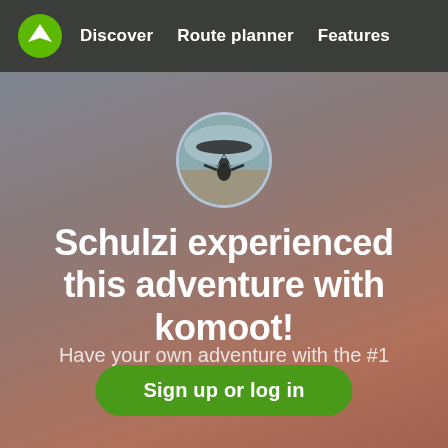Discover   Route planner   Features
[Figure (photo): Circular avatar photo of a paraglider/person flying with wing equipment against a sky background]
Schulzi experienced this adventure with komoot!
Have your own adventure with the #1 outdoor app today.
Sign up or log in